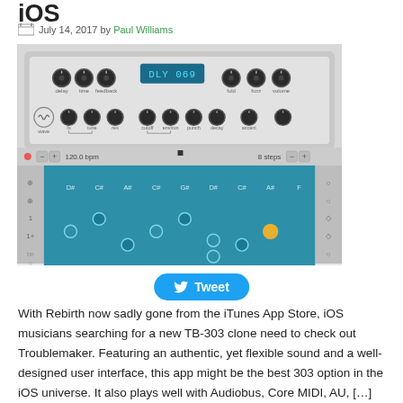iOS
July 14, 2017 by Paul Williams
[Figure (screenshot): Screenshot of Troublemaker TB-303 iOS synthesizer app showing knobs panel with DLY 069 display and a step sequencer grid with note markers on a teal/blue background]
Tweet
With Rebirth now sadly gone from the iTunes App Store, iOS musicians searching for a new TB-303 clone need to check out Troublemaker. Featuring an authentic, yet flexible sound and a well-designed user interface, this app might be the best 303 option in the iOS universe. It also plays well with Audiobus, Core MIDI, AU, [...]